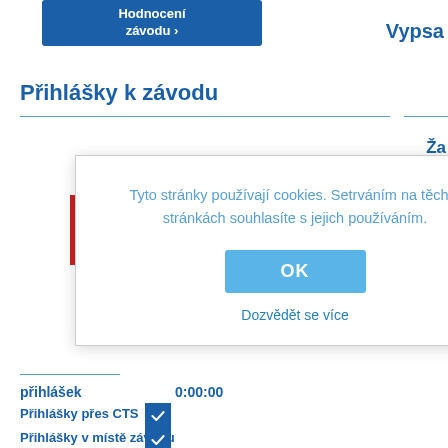[Figure (screenshot): Partial blue button at top with white text 'Hodnocení závodu' (partially cropped)]
Vypsa
Přihlášky k závodu
[Figure (screenshot): Cookie consent modal dialog with text: 'Tyto stránky používají cookies. Setrváním na těchto stránkách souhlasíte s jejich používáním.' with OK button and 'Dozvědět se více' link]
přihlášek
0:00:00
Přihlášky přes CTS
Přihlášky v místě závodu
Ža
Do
Fi
Kateg
Žá